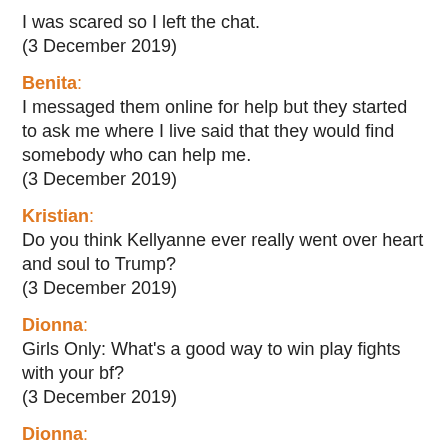I was scared so I left the chat.
(3 December 2019)
Benita:
I messaged them online for help but they started to ask me where I live said that they would find somebody who can help me.
(3 December 2019)
Kristian:
Do you think Kellyanne ever really went over heart and soul to Trump?
(3 December 2019)
Dionna:
Girls Only: What's a good way to win play fights with your bf?
(3 December 2019)
Dionna:
He loves talking trash and being like you're just a girl and you can't hurt me and win.
(3 December 2019)